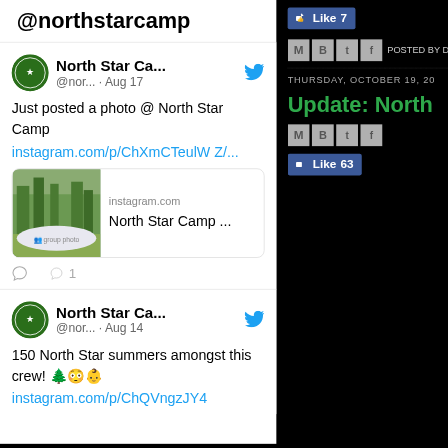@northstarcamp
North Star Ca... @nor... · Aug 17
Just posted a photo @ North Star Camp instagram.com/p/ChXmCTeulWZ/...
[Figure (screenshot): Instagram preview card showing North Star Camp group photo with instagram.com domain and 'North Star Camp ...' title]
♡ 1
North Star Ca... @nor... · Aug 14
150 North Star summers amongst this crew! 🌲😳👶 instagram.com/p/ChQVngzJY4
Like 7
POSTED BY DA
THURSDAY, OCTOBER 19, 20
Update: North
Like 63